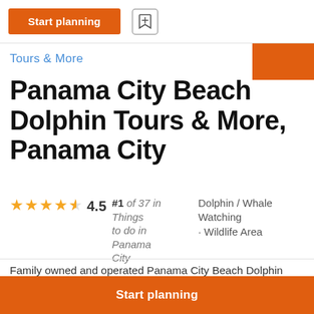Start planning | [bookmark icon]
Tours & More
Panama City Beach Dolphin Tours & More, Panama City
#1 of 37 in Things to do in Panama City  |  Dolphin / Whale Watching · Wildlife Area  |  4.5 stars
Family owned and operated Panama City Beach Dolphin Tours & More would love to take you on your next family fun filled adventure! Give u
Start planning